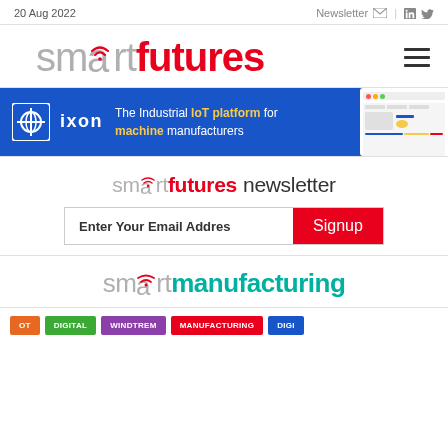20 Aug 2022 | Newsletter | in | Twitter
[Figure (logo): smartfutures logo with wifi icon in 'a', grey 'smart' and red 'futures']
[Figure (infographic): IXON banner: blue background, IXON logo, tagline 'The Industrial IoT platform for machine manufacturers', dashboard screenshot on right]
smartfutures newsletter
Enter Your Email Address | Signup
[Figure (logo): smartmanufacturing logo with wifi icon in 'a', grey 'smart' and teal 'manufacturing']
OT | DIGITAL | INDUSTRIE | MANUFACTURING | DIGI...